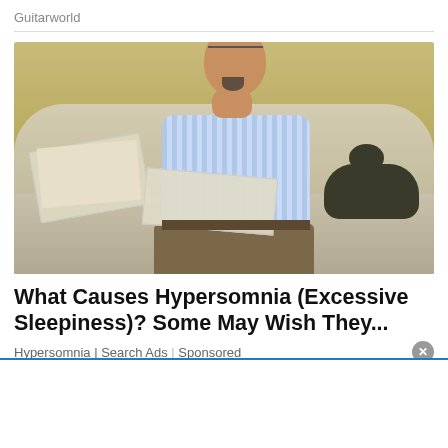Guitarworld
[Figure (photo): An older man with glasses sitting on a beige sofa, yawning or sleeping with mouth open, holding a newspaper, with a dark cat beside him.]
What Causes Hypersomnia (Excessive Sleepiness)? Some May Wish They...
Hypersomnia | Search Ads | Sponsored